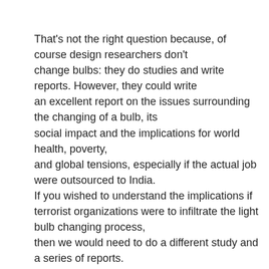That's not the right question because, of course design researchers don't change bulbs: they do studies and write reports. However, they could write an excellent report on the issues surrounding the changing of a bulb, its social impact and the implications for world health, poverty, and global tensions, especially if the actual job were outsourced to India. If you wished to understand the implications if terrorist organizations were to infiltrate the light bulb changing process, then we would need to do a different study and a series of reports.
The proper method would be to compose a multi-disciplinary team of ethnographers, graphic, communication, and industrial designers, at least